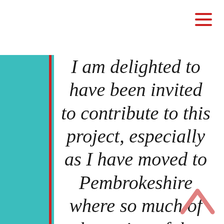I am delighted to have been invited to contribute to this project, especially as I have moved to Pembrokeshire where so much of the action of the Mabinogion takes place. The stories